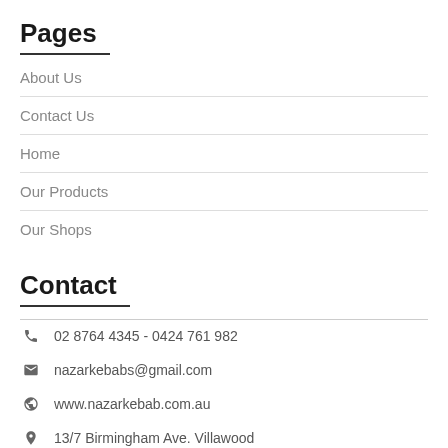Pages
About Us
Contact Us
Home
Our Products
Our Shops
Contact
02 8764 4345 - 0424 761 982
nazarkebabs@gmail.com
www.nazarkebab.com.au
13/7 Birmingham Ave. Villawood NSW 2163 Australia
Maps